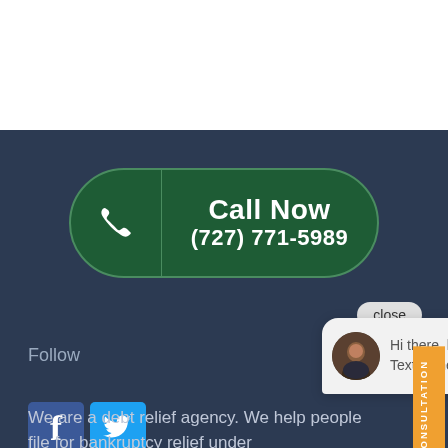[Figure (screenshot): Call Now button with phone icon and number (727) 771-5989 on dark navy background]
close
Follow
[Figure (infographic): Chat popup bubble with avatar and text: Hi there, have a question? Text us here.]
[Figure (logo): Facebook icon square blue]
[Figure (logo): Twitter icon square blue]
We are a debt relief agency. We help people file for bankruptcy relief under
[Figure (infographic): FREE CONSULTATION orange badge on right side with chat bubble icon]